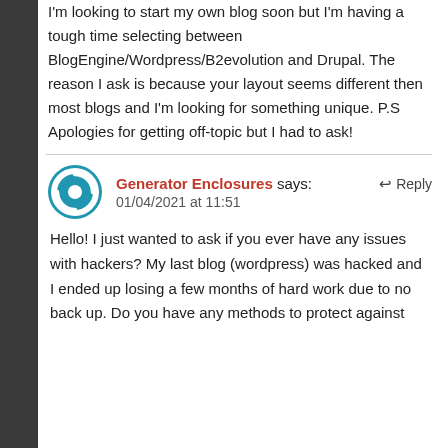I'm looking to start my own blog soon but I'm having a tough time selecting between BlogEngine/Wordpress/B2evolution and Drupal. The reason I ask is because your layout seems different then most blogs and I'm looking for something unique. P.S Apologies for getting off-topic but I had to ask!
Generator Enclosures says: Reply
01/04/2021 at 11:51
Hello! I just wanted to ask if you ever have any issues with hackers? My last blog (wordpress) was hacked and I ended up losing a few months of hard work due to no back up. Do you have any methods to protect against